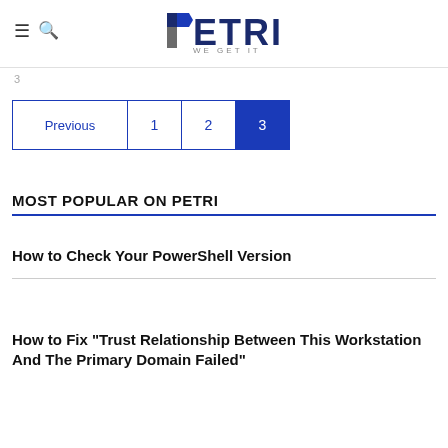PETRI — WE GET IT
3
Previous
1
2
3
MOST POPULAR ON PETRI
How to Check Your PowerShell Version
How to Fix "Trust Relationship Between This Workstation And The Primary Domain Failed"